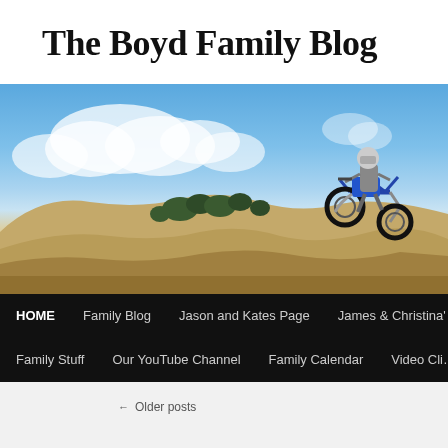The Boyd Family Blog
[Figure (photo): A motocross rider on a blue dirt bike jumping over sand dunes against a blue sky with clouds. Navigation bar below shows: HOME, Family Blog, Jason and Kates Page, James & Christina's, Family Stuff, Our YouTube Channel, Family Calendar, Video Clips]
← Older posts